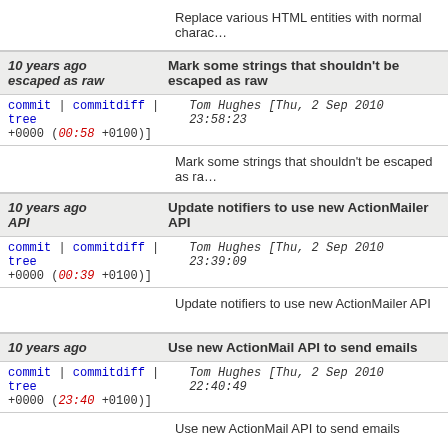+0000 (01:00 +0100)]
Replace various HTML entities with normal chara…
10 years ago  Mark some strings that shouldn't be escaped as raw
commit | commitdiff | tree   Tom Hughes [Thu, 2 Sep 2010 23:58:23 +0000 (00:58 +0100)]
Mark some strings that shouldn't be escaped as ra…
10 years ago  Update notifiers to use new ActionMailer API
commit | commitdiff | tree   Tom Hughes [Thu, 2 Sep 2010 23:39:09 +0000 (00:39 +0100)]
Update notifiers to use new ActionMailer API
10 years ago  Use new ActionMail API to send emails
commit | commitdiff | tree   Tom Hughes [Thu, 2 Sep 2010 22:40:49 +0000 (23:40 +0100)]
Use new ActionMail API to send emails
10 years ago  Use <%= instead of <% for block helpers